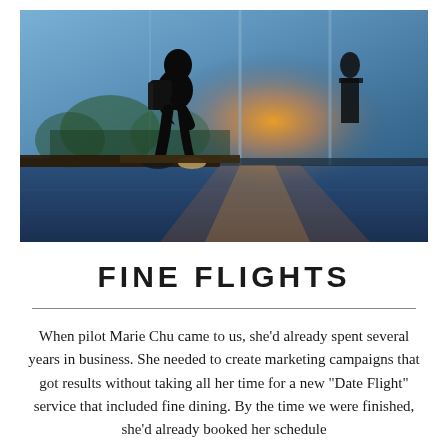[Figure (photo): A woman with long dark hair and a backpack sitting on a bench at an airport or transit terminal, silhouetted against large glass windows with warm sunset light streaming through. The floor has a blue reflective surface. Other silhouetted figures are visible in the background.]
FINE FLIGHTS
When pilot Marie Chu came to us, she’d already spent several years in business. She needed to create marketing campaigns that got results without taking all her time for a new “Date Flight” service that included fine dining. By the time we were finished, she’d already booked her schedule